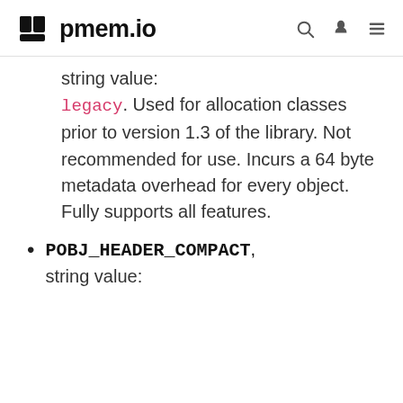pmem.io
string value: legacy. Used for allocation classes prior to version 1.3 of the library. Not recommended for use. Incurs a 64 byte metadata overhead for every object. Fully supports all features.
POBJ_HEADER_COMPACT, string value: